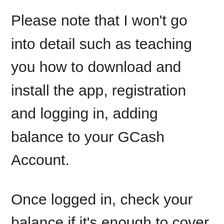Please note that I won't go into detail such as teaching you how to download and install the app, registration and logging in, adding balance to your GCash Account.
Once logged in, check your balance if it's enough to cover the NBI Clearance Fee. You should have at least P155.00 available balance to afford to pay for your NBI Cl...